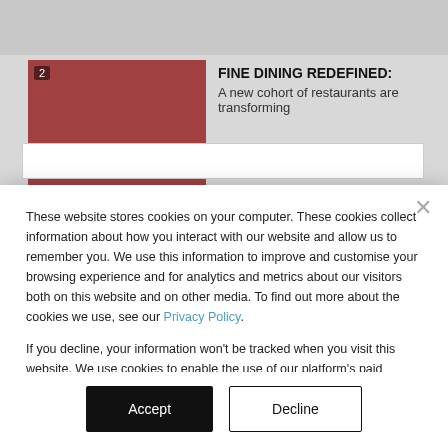[Figure (screenshot): Partial website background showing a numbered article card with an image of a red restaurant setting, article title 'FINE DINING REDEFINED: A new cohort of restaurants are transforming', and a search bar below.]
These website stores cookies on your computer. These cookies collect information about how you interact with our website and allow us to remember you. We use this information to improve and customise your browsing experience and for analytics and metrics about our visitors both on this website and on other media. To find out more about the cookies we use, see our Privacy Policy.
If you decline, your information won't be tracked when you visit this website. We use cookies to enable the use of our platform's paid features and to analyse our traffic. No personal data, including your IP address, is stored and we do not sell data to third parties.